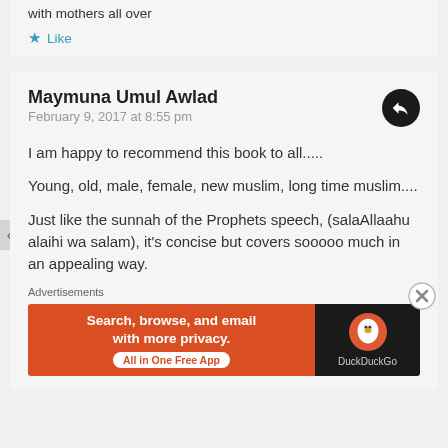with mothers all over
Like
Maymuna Umul Awlad
February 9, 2017 at 8:55 pm
I am happy to recommend this book to all.....
Young, old, male, female, new muslim, long time muslim....
Just like the sunnah of the Prophets speech, (salaAllaahu alaihi wa salam), it's concise but covers sooooo much in an appealing way.
Advertisements
[Figure (other): DuckDuckGo advertisement banner: 'Search, browse, and email with more privacy. All in One Free App' with DuckDuckGo logo on dark background]